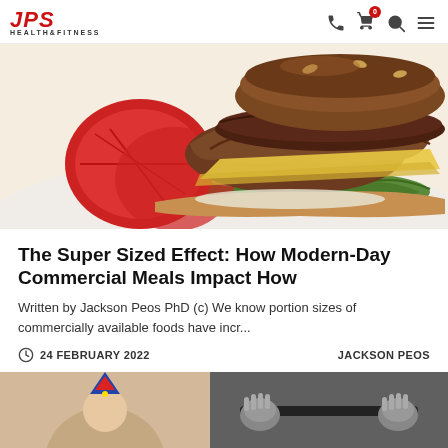JPS HEALTH&FITNESS
[Figure (photo): Close-up of a large commercial burger with tomato, lettuce, mushrooms, onions, cheese, and meat patties on a white plate]
The Super Sized Effect: How Modern-Day Commercial Meals Impact How
Written by Jackson Peos PhD (c) We know portion sizes of commercially available foods have incr...
24 FEBRUARY 2022   JACKSON PEOS
[Figure (photo): Two partial images at the bottom: left shows a person with a birthday hat, right shows a black and white image of someone holding exercise equipment]